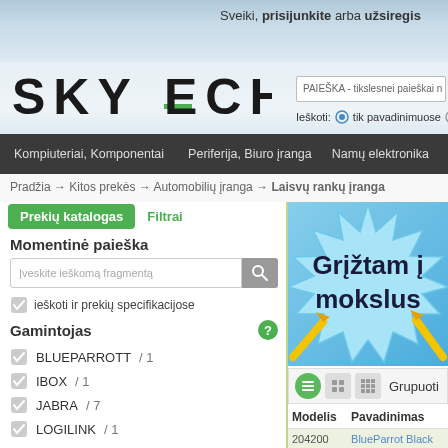Sveiki, prisijunkite arba užsiregis
[Figure (logo): SKYTECH website logo with green dash accent]
PAIEŠKA - tikslesnei paieškai n
Ieškoti: tik pavadinimuose
Kompiuteriai, Komponentai   Periferija, Biuro įranga   Namų elektronika
Pradžia → Kitos prekės → Automobilių įranga → Laisvų rankų įranga
Prekių katalogas   Filtrai
Momentinė paieška
Įveskite ieškomą fragmentą
ieškoti ir prekių specifikacijose
Gamintojas
BLUEPARROTT / 1
IBOX / 1
JABRA / 7
LOGILINK / 1
[Figure (illustration): Grįžtam į mokslus promotional banner with blue starburst background and pencils]
Grupuoti
| Modelis | Pavadinimas |
| --- | --- |
| 204200 | BlueParrot Black |